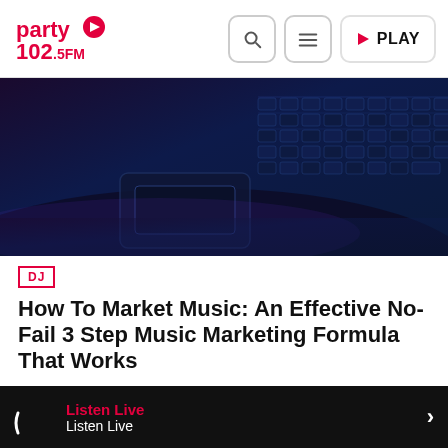party 102.5FM — navigation header with search, menu, and play buttons
[Figure (photo): Close-up of a dark laptop keyboard with blue/purple backlight, viewed from an angle]
DJ
How To Market Music: An Effective No-Fail 3 Step Music Marketing Formula That Works
How To Market Your Music More Effectively Knowing how to market your music is without a doubt THE most important thing you can do for your music business and your music career as a...
Listen Live  Listen Live